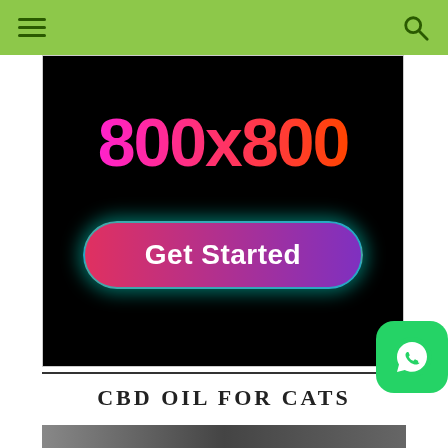Navigation header with hamburger menu and search icon
[Figure (screenshot): Advertisement banner on black background showing '800x800' in pink-to-orange gradient large text and a 'Get Started' button with pink-to-purple gradient and teal glow]
[Figure (logo): WhatsApp icon in green rounded square]
CBD OIL FOR CATS
[Figure (photo): Partial bottom image, cropped]